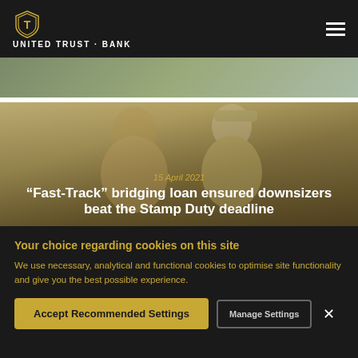United Trust Bank
[Figure (photo): Partially visible photo strip showing outdoor scene with greenery]
[Figure (photo): Background photo showing two people (older couple) viewed from behind, in a warm indoor setting with tan/beige walls]
15 April 2021
“Fast-Track” bridging loan ensured downsizers beat the Stamp Duty deadline
Your choice regarding cookies on this site
We use necessary, analytical and functional cookies to optimise site functionality and give you the best possible experience.
Accept Recommended Settings